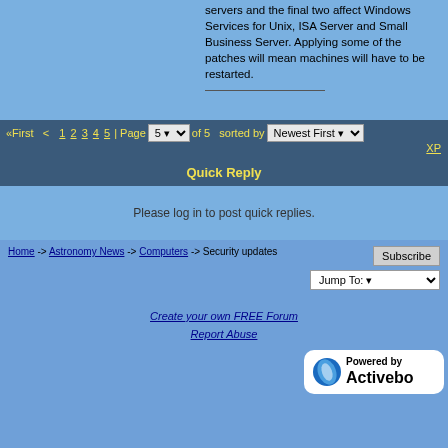servers and the final two affect Windows Services for Unix, ISA Server and Small Business Server. Applying some of the patches will mean machines will have to be restarted.
«First  <  1 2 3 4 5 | Page 5 of 5  sorted by  Newest First  XP
Quick Reply
Please log in to post quick replies.
Home -> Astronomy News -> Computers -> Security updates
Subscribe  Jump To:
Create your own FREE Forum
Report Abuse
[Figure (logo): Powered by Activebo logo with blue circular emblem]